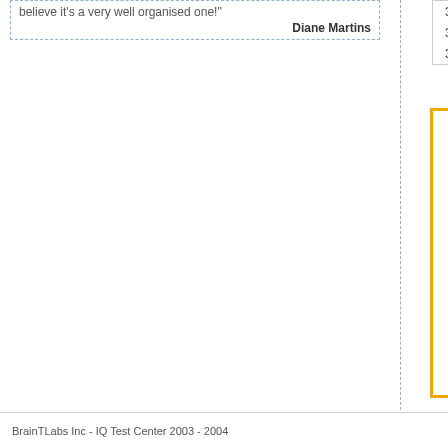believe it's a very well organised one!
Diane Martins
| 33 | United States |
| 30 | United Kingdom |
| 30 | Kenya |
[Figure (continuous-plot): Bell curve distribution chart showing IQ score distribution. X-axis labeled 'IQ' with values 55, 70, 85, 1(00+). Orange filled bell curve partially visible. Title reads 'Distribution'. Y-axis shows tall vertical line on left. The curve starts low around 55-60 then rises, with lighter shading on the right portion.]
The bell curve (also called a "normal curve" or "norma… much of the population falls into each IQ range. In theo… test, most people would score in the " Average" range. … and moderately above average. Very high and very low…
If you have any other questions, please contact us at co…
BrainTLabs Inc - IQ Test Center 2003 - 2004